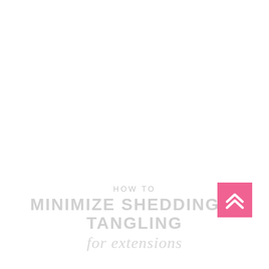HOW TO MINIMIZE SHEDDING & TANGLING
[Figure (illustration): Pink square button with double upward chevron arrows in white, positioned bottom-right]